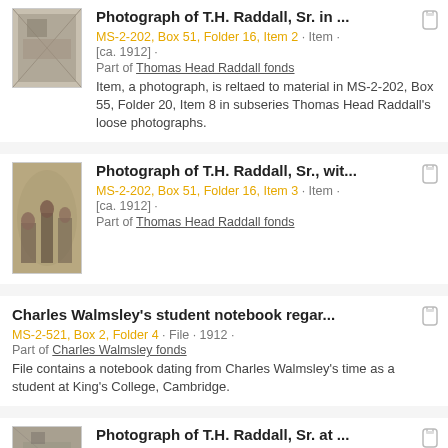Photograph of T.H. Raddall, Sr. in ...
MS-2-202, Box 51, Folder 16, Item 2 · Item · [ca. 1912] ·
Part of Thomas Head Raddall fonds
Item, a photograph, is reltaed to material in MS-2-202, Box 55, Folder 20, Item 8 in subseries Thomas Head Raddall's loose photographs.
Photograph of T.H. Raddall, Sr., wit...
MS-2-202, Box 51, Folder 16, Item 3 · Item · [ca. 1912] ·
Part of Thomas Head Raddall fonds
Charles Walmsley's student notebook regar...
MS-2-521, Box 2, Folder 4 · File · 1912 ·
Part of Charles Walmsley fonds
File contains a notebook dating from Charles Walmsley's time as a student at King's College, Cambridge.
Photograph of T.H. Raddall, Sr. at ...